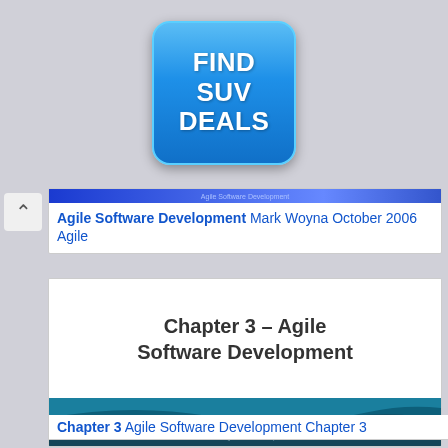[Figure (other): Blue rounded-rectangle advertisement button with text FIND SUV DEALS on gray background]
[Figure (screenshot): Small blue banner thumbnail showing Agile Software Development text]
Agile Software Development Mark Woyna October 2006 Agile
[Figure (screenshot): Slide preview showing Chapter 3 – Agile Software Development in bold dark text on white background]
[Figure (screenshot): Slide thumbnail with teal and dark blue wave graphic at bottom]
Chapter 3 Agile Software Development Chapter 3